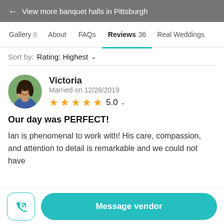← View more banquet halls in Pittsburgh
Gallery 8   About   FAQs   Reviews 36   Real Weddings
Sort by: Rating: Highest
Victoria
Married on 12/28/2019
★★★★★ 5.0
Our day was PERFECT!
Ian is phenomenal to work with! His care, compassion, and attention to detail is remarkable and we could not have
Message vendor